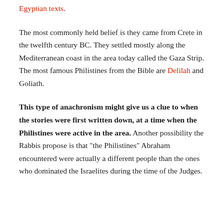Egyptian texts.
The most commonly held belief is they came from Crete in the twelfth century BC. They settled mostly along the Mediterranean coast in the area today called the Gaza Strip. The most famous Philistines from the Bible are Delilah and Goliath.
This type of anachronism might give us a clue to when the stories were first written down, at a time when the Philistines were active in the area. Another possibility the Rabbis propose is that “the Philistines” Abraham encountered were actually a different people than the ones who dominated the Israelites during the time of the Judges.